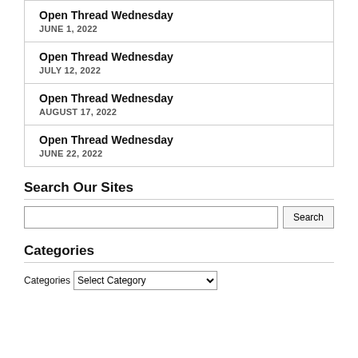Open Thread Wednesday
JUNE 1, 2022
Open Thread Wednesday
JULY 12, 2022
Open Thread Wednesday
AUGUST 17, 2022
Open Thread Wednesday
JUNE 22, 2022
Search Our Sites
Categories